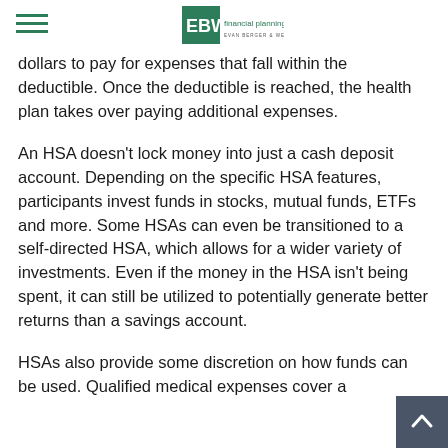EBW financial planning
dollars to pay for expenses that fall within the deductible. Once the deductible is reached, the health plan takes over paying additional expenses.
An HSA doesn't lock money into just a cash deposit account. Depending on the specific HSA features, participants invest funds in stocks, mutual funds, ETFs and more. Some HSAs can even be transitioned to a self-directed HSA, which allows for a wider variety of investments. Even if the money in the HSA isn't being spent, it can still be utilized to potentially generate better returns than a savings account.
HSAs also provide some discretion on how funds can be used. Qualified medical expenses cover a